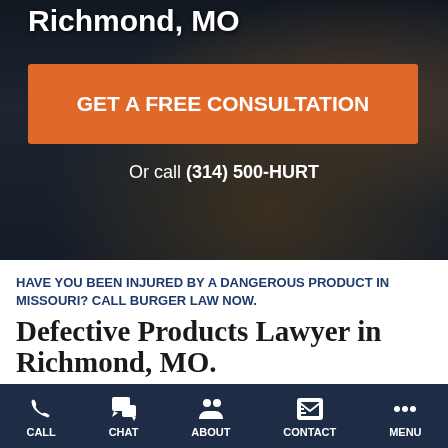[Figure (screenshot): Darkened hero background image showing a desk with keyboard and office environment, overlaid with dark blue tint]
Richmond, MO
GET A FREE CONSULTATION
Or call (314) 500-HURT
HAVE YOU BEEN INJURED BY A DANGEROUS PRODUCT IN MISSOURI? CALL BURGER LAW NOW.
Defective Products Lawyer in Richmond, MO.
CALL CHAT ABOUT CONTACT MENU